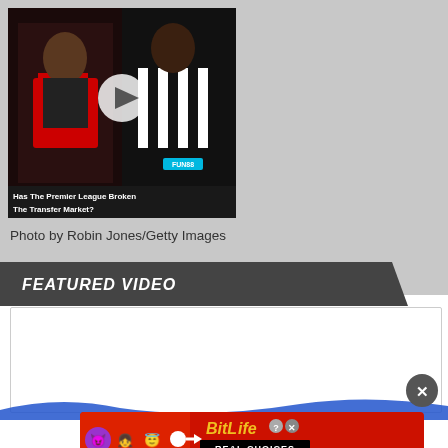[Figure (screenshot): Video thumbnail showing two soccer players with text 'Has The Premier League Broken The Transfer Market?' with a play button overlay]
Photo by Robin Jones/Getty Images
FEATURED VIDEO
[Figure (screenshot): Embedded video player area, white/blank]
[Figure (advertisement): BitLife 'REAL CHOICES' advertisement banner with emojis on red background]